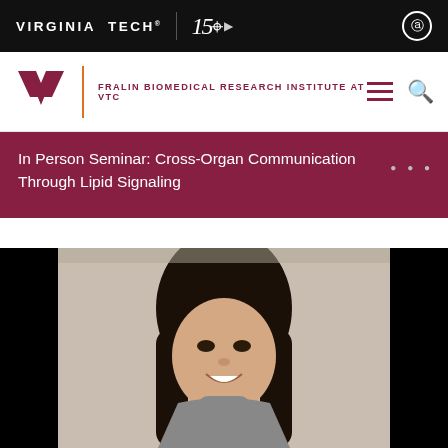VIRGINIA TECH® | 150 [camera icon] [accessibility icon]
FRALIN BIOMEDICAL RESEARCH INSTITUTE AT VTC
In Person Seminar: Cross-Organ Communication Through Lipid Signaling
[Figure (photo): Headshot photo of a smiling woman with long dark hair wearing a grey turtleneck sweater, set against a beige/lab background. The photo is framed with black bars on the left and right sides.]